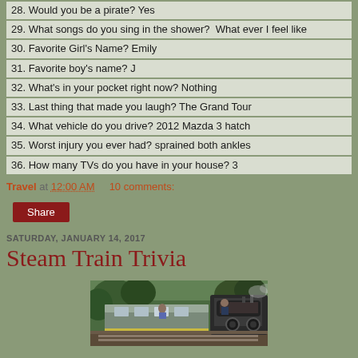28. Would you be a pirate? Yes
29. What songs do you sing in the shower?  What ever I feel like
30. Favorite Girl's Name? Emily
31. Favorite boy's name? J
32. What's in your pocket right now? Nothing
33. Last thing that made you laugh? The Grand Tour
34. What vehicle do you drive? 2012 Mazda 3 hatch
35. Worst injury you ever had? sprained both ankles
36. How many TVs do you have in your house? 3
Travel at 12:00 AM    10 comments:
Share
SATURDAY, JANUARY 14, 2017
Steam Train Trivia
[Figure (photo): A steam train with a person visible, surrounded by green trees. Dark locomotive machinery visible on the right side.]